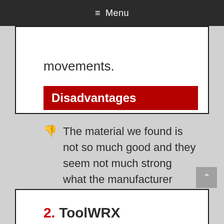≡ Menu
movements.
Disadvantages
The material we found is not so much good and they seem not much strong what the manufacturer says.
2. ToolWRX